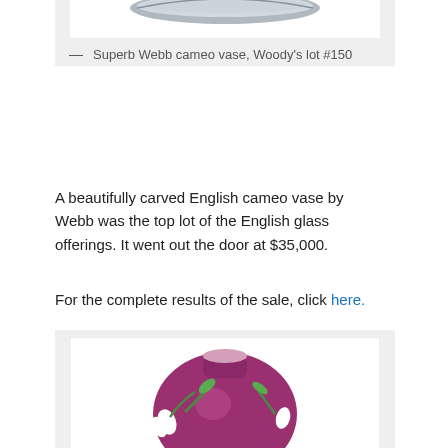[Figure (photo): Bottom portion of a Webb cameo vase, partially visible at top of image box]
— Superb Webb cameo vase, Woody's lot #150
A beautifully carved English cameo vase by Webb was the top lot of the English glass offerings. It went out the door at $35,000.
For the complete results of the sale, click here.
[Figure (photo): Round purple/pink glass vase with white snowdrop flower decorations and green leaves in relief, sitting on white background within a light gray frame]